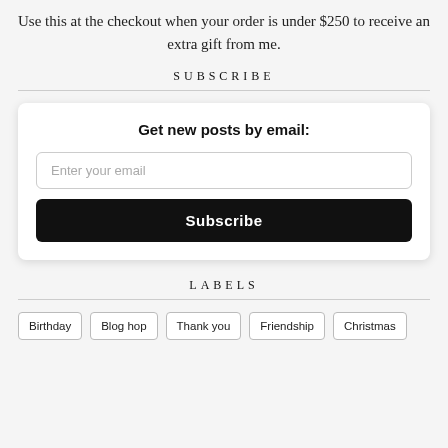Use this at the checkout when your order is under $250 to receive an extra gift from me.
SUBSCRIBE
Get new posts by email:
Enter your email
Subscribe
LABELS
Birthday
Blog hop
Thank you
Friendship
Christmas